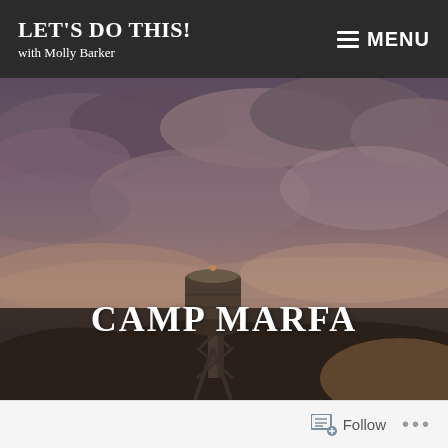LET'S DO THIS! with Molly Barker
[Figure (photo): Dramatic dusk sky with clouds and a water tower silhouette in the foreground, warm golden-purple tones]
CAMP MARFA
Follow ...